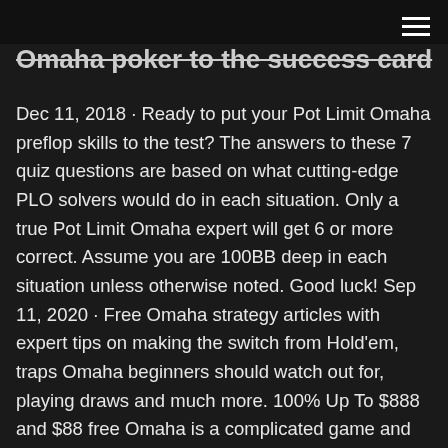Omaha poker to the success card
Dec 11, 2018 · Ready to put your Pot Limit Omaha preflop skills to the test? The answers to these 7 quiz questions are based on what cutting-edge PLO solvers would do in each situation. Only a true Pot Limit Omaha expert will get 6 or more correct. Assume you are 100BB deep in each situation unless otherwise noted. Good luck! Sep 11, 2020 · Free Omaha strategy articles with expert tips on making the switch from Hold'em, traps Omaha beginners should watch out for, playing draws and much more. 100% Up To $888 and $88 free Omaha is a complicated game and you can be winning one minute and losing badly the next. Here we are going to look at strategy for basic Omaha. For Omaha Hi-Lo look here. Don't forget that Omaha is usually either Limit or